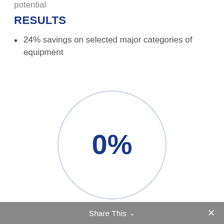potential
RESULTS
24% savings on selected major categories of equipment
[Figure (donut-chart): Large circle outline (donut chart) with 0% displayed in the center in dark blue text]
Share This  ∨  ✕